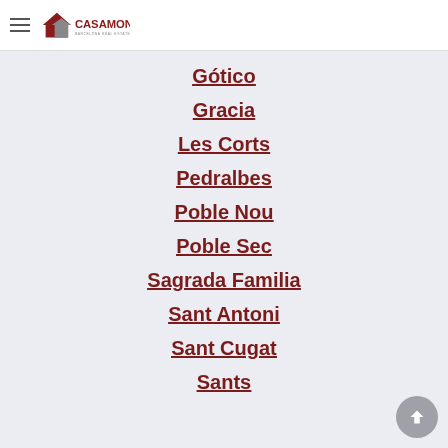CASAMONA
Gótico
Gracia
Les Corts
Pedralbes
Poble Nou
Poble Sec
Sagrada Familia
Sant Antoni
Sant Cugat
Sants